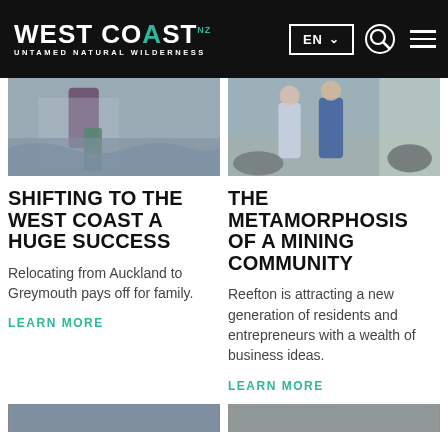West Coast - Untamed Natural Wilderness | EN
[Figure (photo): Partial view of person walking in waves on a beach, wearing purple leggings and green boots]
[Figure (photo): Partial view of two people walking together outdoors near rocks and a building]
SHIFTING TO THE WEST COAST A HUGE SUCCESS
THE METAMORPHOSIS OF A MINING COMMUNITY
Relocating from Auckland to Greymouth pays off for family.
Reefton is attracting a new generation of residents and entrepreneurs with a wealth of business ideas.
LEARN MORE
LEARN MORE
[Figure (photo): Partially visible bottom image strip, left card]
[Figure (photo): Partially visible bottom image strip, right card]